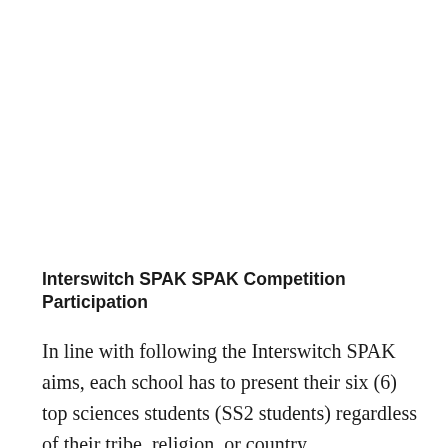Interswitch SPAK SPAK Competition Participation
In line with following the Interswitch SPAK aims, each school has to present their six (6) top sciences students (SS2 students) regardless of their tribe, religion, or country